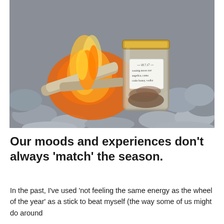[Figure (photo): A glass jar with a handwritten label reading '18.7.17 – waning moon rise, angelica, camu, crabs honey, vodka' sitting on rocks in front of a campfire on a beach. The jar has a gold lid.]
Our moods and experiences don't always 'match' the season.
In the past, I've used 'not feeling the same energy as the wheel of the year' as a stick to beat myself (the way some of us might do around